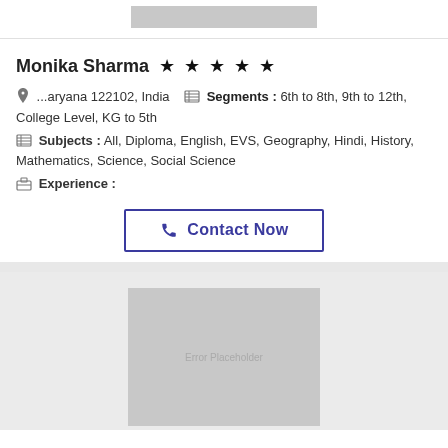[Figure (photo): Profile photo placeholder (gray box) at top of card]
Monika Sharma ★★★★★
📍 ...aryana 122102, India  🗒 Segments : 6th to 8th, 9th to 12th, College Level, KG to 5th
🗒 Subjects : All, Diploma, English, EVS, Geography, Hindi, History, Mathematics, Science, Social Science
💼 Experience :
📞 Contact Now
[Figure (photo): Second profile photo placeholder (gray box with Error Placeholder text) at bottom of page]